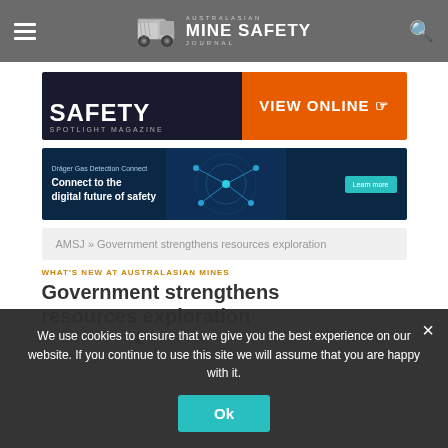AUSTRALASIAN MINE SAFETY JOURNAL
[Figure (other): Safety Spotlight Magazine - VIEW ONLINE advertisement banner]
[Figure (other): Dräger Gas Detection Connect - Connect to the digital future of safety advertisement banner]
AMSJ » Government strengthens resources exploration
WHAT'S NEW AT AUSTRALASIAN MINES
Government strengthens resources exploration
June 25, 2020 · Mining · 2 Min Read
We use cookies to ensure that we give you the best experience on our website. If you continue to use this site we will assume that you are happy with it.